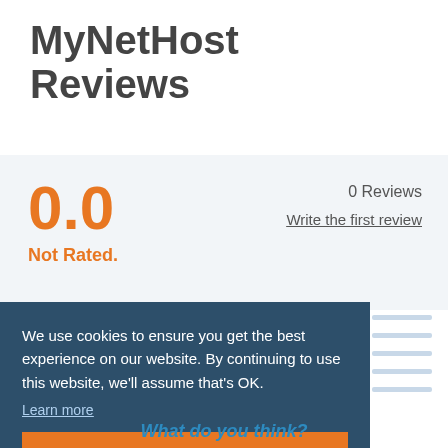MyNetHost Reviews
0.0
Not Rated.
0 Reviews
Write the first review
We use cookies to ensure you get the best experience on our website. By continuing to use this website, we'll assume that's OK.
Learn more
OK
What do you think?